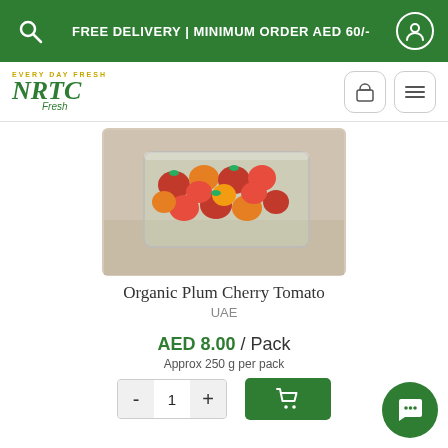FREE DELIVERY | MINIMUM ORDER AED 60/-
[Figure (logo): NRTC Fresh logo with tagline EVERY DAY FRESH]
[Figure (photo): Photo of Organic Plum Cherry Tomatoes in a clear plastic container]
Organic Plum Cherry Tomato
UAE
AED 8.00 / Pack
Approx 250 g per pack
[Figure (other): Quantity selector showing minus button, 1, plus button, and green cart button]